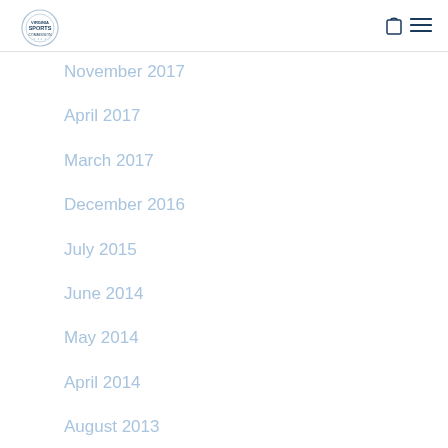Sports Commission
November 2017
April 2017
March 2017
December 2016
July 2015
June 2014
May 2014
April 2014
August 2013
June 2013